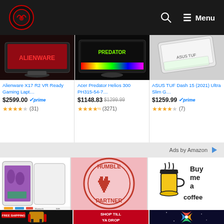Navigation bar with logo, search icon, and Menu
[Figure (screenshot): Alienware X17 R2 gaming laptop product image]
Alienware X17 R2 VR Ready Gaming Lapt…
$2599.00 ✓prime (31) ★★★★☆
[Figure (screenshot): Acer Predator Helios 300 gaming laptop product image]
Acer Predator Helios 300 PH315-54-7…
$1148.83 $1299.99 (3271) ★★★★½
[Figure (screenshot): ASUS TUF Dash 15 2021 laptop product image]
ASUS TUF Dash 15 (2021) Ultra Slim G…
$1259.99 ✓prime (7) ★★★★☆
Ads by Amazon ▷
[Figure (photo): Tablet product advertisement]
[Figure (logo): Humble Partner circular badge logo]
[Figure (illustration): Buy me a coffee logo with coffee cup illustration]
[Figure (photo): Gaming chair with FREE SHIPPING text]
[Figure (infographic): SHOP TILL YA DROP red banner ad]
[Figure (illustration): Colorful pinwheel/windmill graphic on dark background]